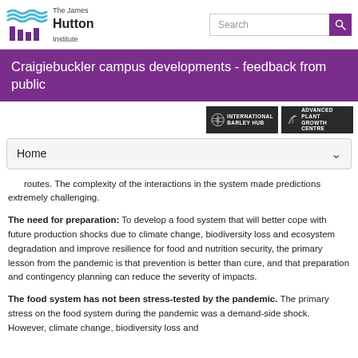The James Hutton Institute
Craigiebuckler campus developments - feedback from public
[Figure (logo): International Barley Hub badge and Advanced Plant Growth Centre badge]
Home
routes. The complexity of the interactions in the system made predictions extremely challenging.
The need for preparation: To develop a food system that will better cope with future production shocks due to climate change, biodiversity loss and ecosystem degradation and improve resilience for food and nutrition security, the primary lesson from the pandemic is that prevention is better than cure, and that preparation and contingency planning can reduce the severity of impacts.
The food system has not been stress-tested by the pandemic. The primary stress on the food system during the pandemic was a demand-side shock. However, climate change, biodiversity loss and